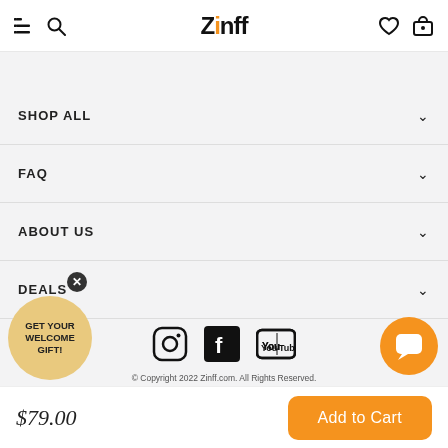Zinff — navigation header with menu, search, wishlist, cart icons
SHOP ALL
FAQ
ABOUT US
DEALS
[Figure (infographic): Social media icons: Instagram, Facebook, YouTube]
© Copyright 2022 Zinff.com. All Rights Reserved.
GET YOUR WELCOME GIFT!
$79.00
Add to Cart